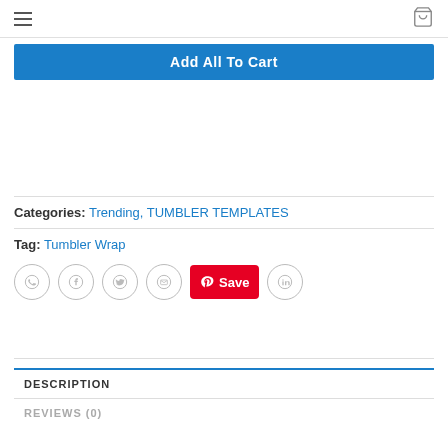Navigation bar with hamburger menu and cart icon
Add All To Cart
Categories: Trending, TUMBLER TEMPLATES
Tag: Tumbler Wrap
[Figure (infographic): Social sharing icons row: WhatsApp, Facebook, Twitter, Email, Pinterest Save button (red), LinkedIn]
DESCRIPTION
REVIEWS (0)